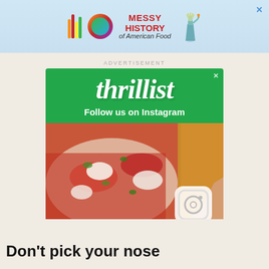[Figure (screenshot): Top advertisement banner with colorful vertical bars, a gradient circle logo, text 'MESSY HISTORY of American Food', and a Statue of Liberty image on a light blue background. Close X button in top right.]
ADVERTISEMENT
[Figure (screenshot): Thrillist advertisement on green background with 'thrillist' logo text and 'Follow us on Instagram' text, below which is a food photo of pizza/flatbread with toppings and an Instagram icon in the bottom right corner. Close X in top right.]
Don't pick your nose